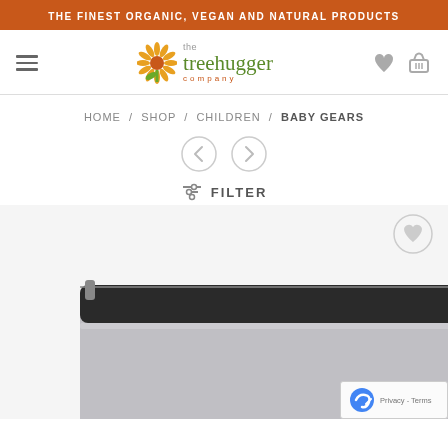THE FINEST ORGANIC, VEGAN AND NATURAL PRODUCTS
[Figure (logo): The Treehugger Company logo with sunflower icon and stylized text]
HOME / SHOP / CHILDREN / BABY GEARS
[Figure (other): Navigation previous and next arrow buttons]
FILTER
[Figure (photo): Grey diaper bag / baby gear product photo, partially cropped, showing the top opening of the bag with dark interior lining]